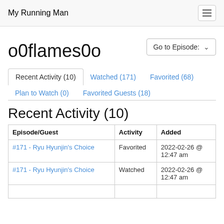My Running Man
o0flames0o
Go to Episode:
Recent Activity (10)
Watched (171)
Favorited (68)
Plan to Watch (0)
Favorited Guests (18)
Recent Activity (10)
| Episode/Guest | Activity | Added |
| --- | --- | --- |
| #171 - Ryu Hyunjin's Choice | Favorited | 2022-02-26 @ 12:47 am |
| #171 - Ryu Hyunjin's Choice | Watched | 2022-02-26 @ 12:47 am |